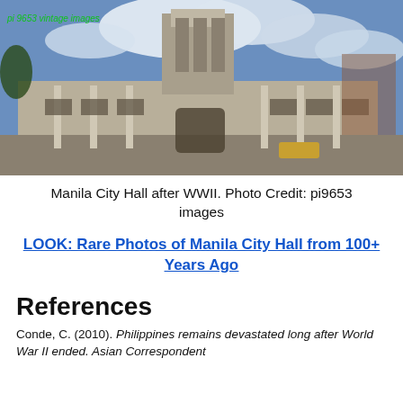[Figure (photo): Photograph of Manila City Hall after WWII, showing a large neoclassical government building with a central tower, partially damaged, under a cloudy sky. Watermark text 'pi 9653 vintage images' in green at top left.]
Manila City Hall after WWII. Photo Credit: pi9653 images
LOOK: Rare Photos of Manila City Hall from 100+ Years Ago
References
Conde, C. (2010). Philippines remains devastated long after World War II ended. Asian Correspondent